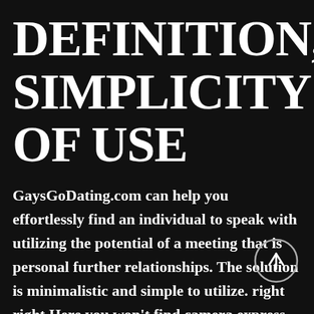DEFINITION, SIMPLICITY OF USE
GaysGoDating.com can help you effortlessly find an individual to speak with utilizing the potential of a meeting that is personal further relationships. The solution is minimalistic and simple to utilize. right right Here you won't find camera express choice, chatrooms, chatbots,